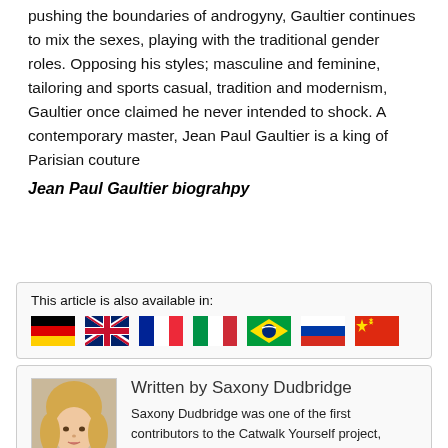pushing the boundaries of androgyny, Gaultier continues to mix the sexes, playing with the traditional gender roles. Opposing his styles; masculine and feminine, tailoring and sports casual, tradition and modernism, Gaultier once claimed he never intended to shock. A contemporary master, Jean Paul Gaultier is a king of Parisian couture
Jean Paul Gaultier biograhpy
This article is also available in:
[Figure (infographic): Row of country flags: Germany, United Kingdom, France, Italy, Brazil, Russia, China]
Written by Saxony Dudbridge
Saxony Dudbridge was one of the first contributors to the Catwalk Yourself project, Saxony studies International Fashion Marketing and she is